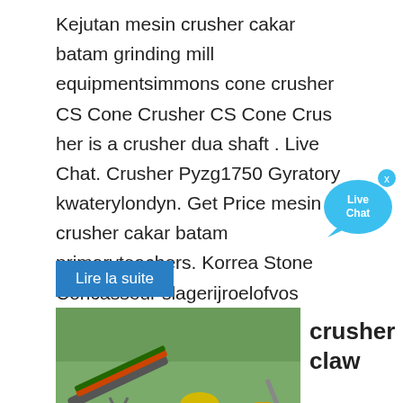Kejutan mesin crusher cakar batam grinding mill equipmentsimmons cone crusher CS Cone Crusher CS Cone Crus her is a crusher dua shaft . Live Chat. Crusher Pyzg1750 Gyratory kwaterylondyn. Get Price mesin crusher cakar batam primaryteachers. Korrea Stone Concasseur slagerijroelofvos
[Figure (illustration): Live Chat speech bubble icon in blue with 'Live Chat' text and an X close button]
Lire la suite
[Figure (photo): Industrial crusher/mining plant with yellow machinery, conveyor belts, and green hills in background]
crusher claw
machine batam mantelzorgleiderdorp